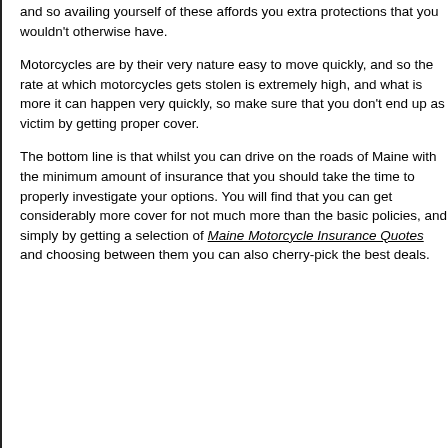and so availing yourself of these affords you extra protections that you wouldn't otherwise have.
Motorcycles are by their very nature easy to move quickly, and so the rate at which motorcycles gets stolen is extremely high, and what is more it can happen very quickly, so make sure that you don't end up as victim by getting proper cover.
The bottom line is that whilst you can drive on the roads of Maine with the minimum amount of insurance that you should take the time to properly investigate your options. You will find that you can get considerably more cover for not much more than the basic policies, and simply by getting a selection of Maine Motorcycle Insurance Quotes and choosing between them you can also cherry-pick the best deals.